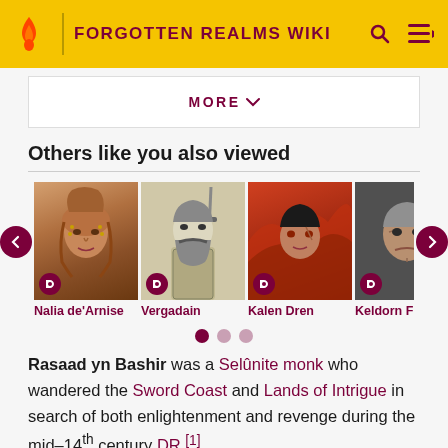FORGOTTEN REALMS WIKI
MORE
Others like you also viewed
[Figure (photo): Carousel of character portraits: Nalia de'Arnise, Vergadain, Kalen Dren, Keldorn Firecam]
Nalia de'Arnise
Vergadain
Kalen Dren
Keldorn Firec
Rasaad yn Bashir was a Selûnite monk who wandered the Sword Coast and Lands of Intrigue in search of both enlightenment and revenge during the mid-14th century DR.[1]